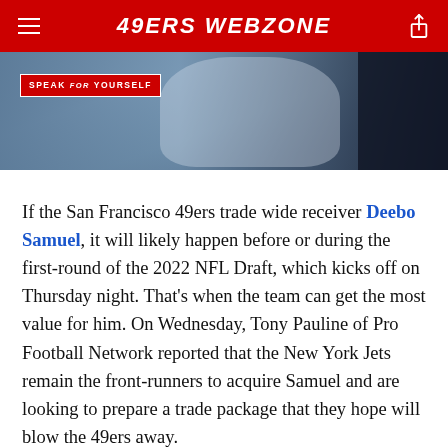49ERS WEBZONE
[Figure (photo): Sports photo with 'Speak for Yourself' TV show banner overlay, showing athletes in action, dark background on right edge]
If the San Francisco 49ers trade wide receiver Deebo Samuel, it will likely happen before or during the first-round of the 2022 NFL Draft, which kicks off on Thursday night. That's when the team can get the most value for him. On Wednesday, Tony Pauline of Pro Football Network reported that the New York Jets remain the front-runners to acquire Samuel and are looking to prepare a trade package that they hope will blow the 49ers away.
"Everyone says that Kyle Shanahan would like to keep Deebo Samuel, but again, the feeling is what the Jets